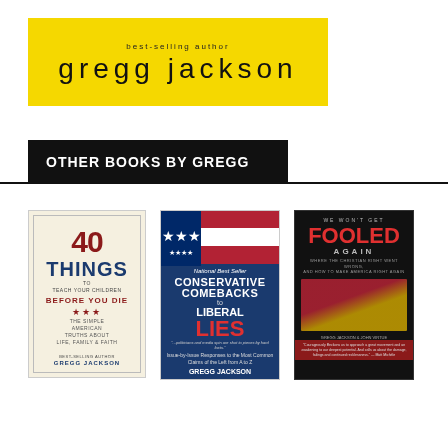[Figure (logo): Yellow banner with 'best-selling author' in small text above 'gregg jackson' in large lowercase letters]
OTHER BOOKS BY GREGG
[Figure (illustration): Three book covers: '40 Things to Teach Your Children Before You Die – The Simple American Truths About Life, Family & Faith' by Gregg Jackson; 'Conservative Comebacks to Liberal Lies' National Best Seller by Gregg Jackson; 'We Won't Get Fooled Again' by Gregg Jackson & John Virtue]